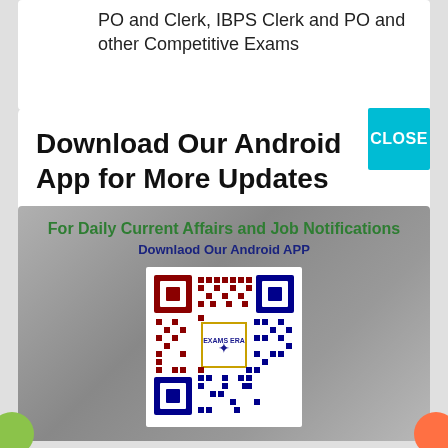PO and Clerk, IBPS Clerk and PO and other Competitive Exams
Download Our Android App for More Updates
CLOSE
[Figure (infographic): Android app promotion banner with QR code. Text reads 'For Daily Current Affairs and Job Notifications' in green, 'Downlaod Our Android APP' in dark blue, and a QR code with Exams Era logo in the center, on a gray gradient background.]